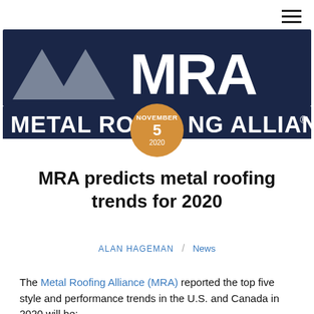[Figure (logo): Metal Roofing Alliance (MRA) logo with stylized roof peaks and text 'METAL ROOFING ALLIANCE' on dark navy background]
MRA predicts metal roofing trends for 2020
ALAN HAGEMAN / News
The Metal Roofing Alliance (MRA) reported the top five style and performance trends in the U.S. and Canada in 2020 will be: